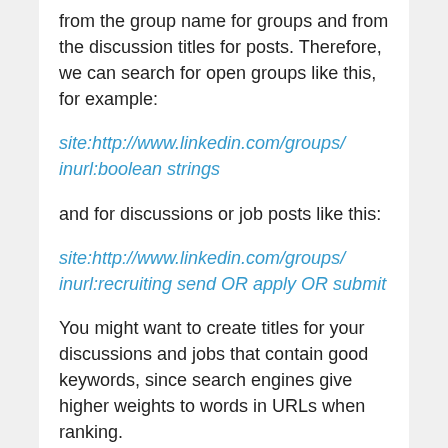from the group name for groups and from the discussion titles for posts. Therefore, we can search for open groups like this, for example:
site:http://www.linkedin.com/groups/ inurl:boolean strings
and for discussions or job posts like this:
site:http://www.linkedin.com/groups/ inurl:recruiting send OR apply OR submit
You might want to create titles for your discussions and jobs that contain good keywords, since search engines give higher weights to words in URLs when ranking.